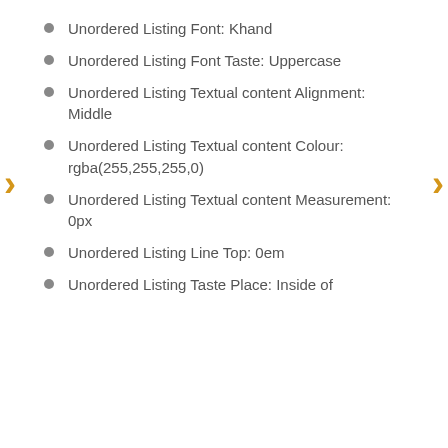Unordered Listing Font: Khand
Unordered Listing Font Taste: Uppercase
Unordered Listing Textual content Alignment: Middle
Unordered Listing Textual content Colour: rgba(255,255,255,0)
Unordered Listing Textual content Measurement: 0px
Unordered Listing Line Top: 0em
Unordered Listing Taste Place: Inside of